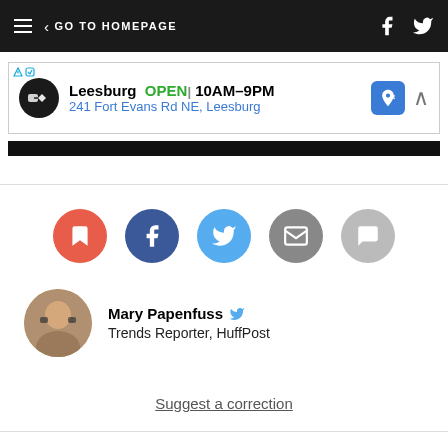GO TO HOMEPAGE
[Figure (screenshot): Advertisement banner for a Leesburg store showing logo, OPEN status, hours 10AM-9PM, and address 241 Fort Evans Rd NE, Leesburg]
[Figure (infographic): Social sharing buttons row: bookmark (red), Facebook (dark blue), Twitter (blue), email (gray), comments (light gray)]
Mary Papenfuss — Trends Reporter, HuffPost
Suggest a correction